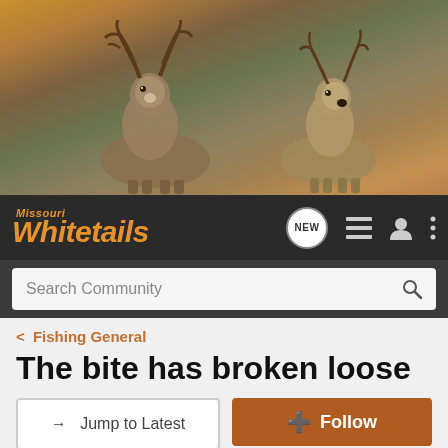[Figure (photo): Banner photo of two whitetail deer (bucks) against a brown natural background]
Missouri Whitetails — Navigation bar with NEW, list, user, and menu icons
Search Community
< Fishing General
The bite has broken loose
→ Jump to Latest
+ Follow
1 - 5 of 5 Posts
Bruso · Registered
Joined Apr 7, 2004 · 9 Posts